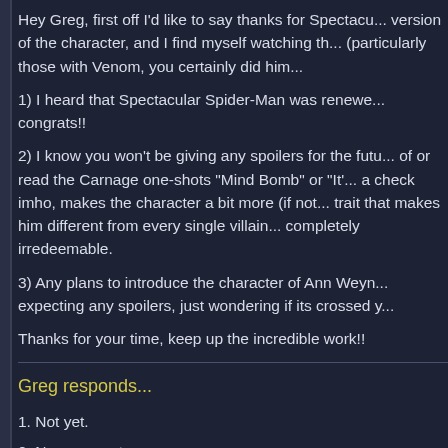Hey Greg, first off I'd like to say thanks for Spectacu... version of the character, and I find myself watching th... (particularly those with Venom, you certainly did him...
1) I heard that Spectacular Spider-Man was renewed... congrats!!
2) I know you won't be giving any spoilers for the futu... of or read the Carnage one-shots "Mind Bomb" or "It'... a check imho, makes the character a bit more (if not... trait that makes him different from every single villain... completely irredeemable.
3) Any plans to introduce the character of Ann Weyn... expecting any spoilers, just wondering if its crossed y...
Thanks for your time, keep up the incredible work!!
Greg responds...
1. Not yet.
2. No comment.